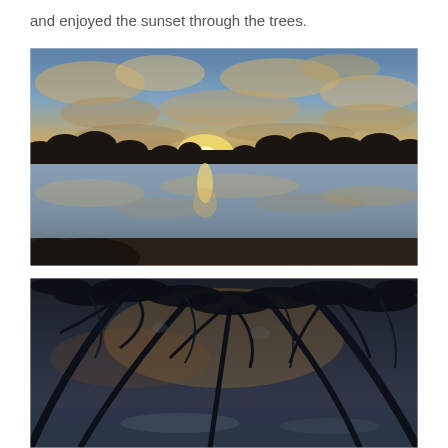and enjoyed the sunset through the trees.
[Figure (photo): Photograph of a sunset over a calm lake reflecting dramatic clouds lit in orange and gold tones, with dark tree silhouettes along the horizon.]
[Figure (photo): Photograph taken looking up through dark palm or willow tree branches and leaves, with glimpses of a sunset sky and water reflection visible through the foliage.]